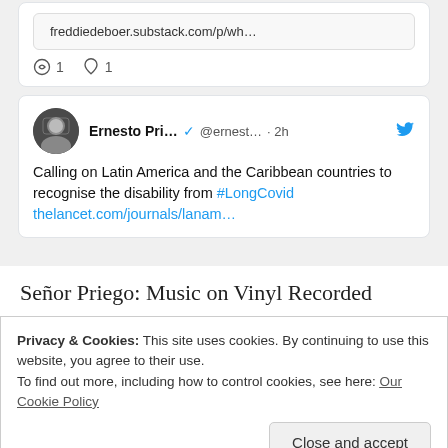[Figure (screenshot): Partial tweet card showing a link to freddiedeboer.substack.com/p/wh... with 1 comment and 1 like]
[Figure (screenshot): Tweet by Ernesto Pri... (@ernest...) 2h ago: Calling on Latin America and the Caribbean countries to recognise the disability from #LongCovid thelancet.com/journals/lanam...]
Señor Priego: Music on Vinyl Recorded
Privacy & Cookies: This site uses cookies. By continuing to use this website, you agree to their use.
To find out more, including how to control cookies, see here: Our Cookie Policy
Close and accept